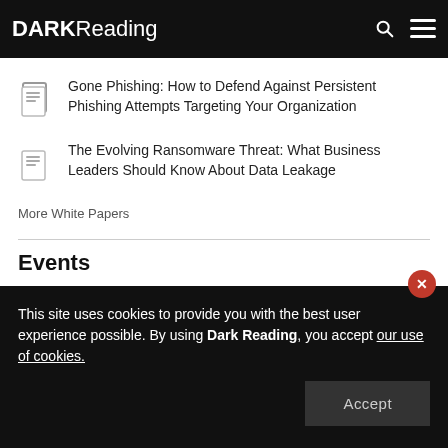DARK Reading
Gone Phishing: How to Defend Against Persistent Phishing Attempts Targeting Your Organization
The Evolving Ransomware Threat: What Business Leaders Should Know About Data Leakage
More White Papers
Events
This site uses cookies to provide you with the best user experience possible. By using Dark Reading, you accept our use of cookies.